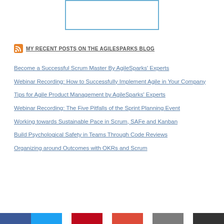[Figure (other): Rectangular image placeholder box with blue border, centered at top of page]
MY RECENT POSTS ON THE AGILESPARKS BLOG
Become a Successful Scrum Master By AgileSparks' Experts
Webinar Recording: How to Successfully Implement Agile in Your Company
Tips for Agile Product Management by AgileSparks' Experts
Webinar Recording: The Five Pitfalls of the Sprint Planning Event
Working towards Sustainable Pace in Scrum, SAFe and Kanban
Build Psychological Safety in Teams Through Code Reviews
Organizing around Outcomes with OKRs and Scrum
Social media bar (Facebook, Twitter, Pinterest, Google+, LinkedIn, Email)